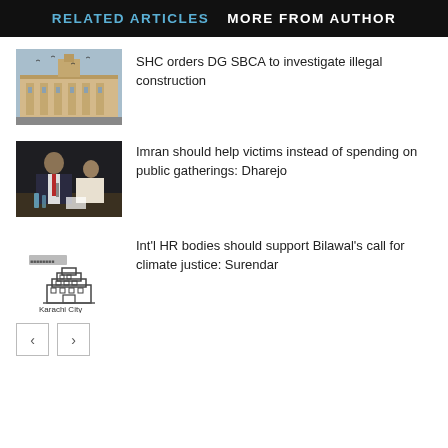RELATED ARTICLES  MORE FROM AUTHOR
[Figure (photo): Photo of a historic building with birds flying around it, Sindh High Court]
SHC orders DG SBCA to investigate illegal construction
[Figure (photo): Photo of a man in a suit speaking at a meeting]
Imran should help victims instead of spending on public gatherings: Dharejo
[Figure (logo): Karachi City logo with building icon and text 'Karachi City']
Int'l HR bodies should support Bilawal's call for climate justice: Surendar